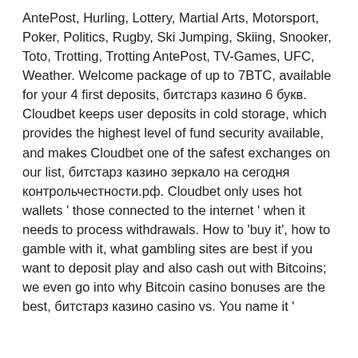AntePost, Hurling, Lottery, Martial Arts, Motorsport, Poker, Politics, Rugby, Ski Jumping, Skiing, Snooker, Toto, Trotting, Trotting AntePost, TV-Games, UFC, Weather. Welcome package of up to 7BTC, available for your 4 first deposits, битстарз казино 6 букв. Cloudbet keeps user deposits in cold storage, which provides the highest level of fund security available, and makes Cloudbet one of the safest exchanges on our list, битстарз казино зеркало на сегодня контрольчестности.рф. Cloudbet only uses hot wallets ' those connected to the internet ' when it needs to process withdrawals. How to 'buy it', how to gamble with it, what gambling sites are best if you want to deposit play and also cash out with Bitcoins; we even go into why Bitcoin casino bonuses are the best, битстарз казино casino vs. You name it '